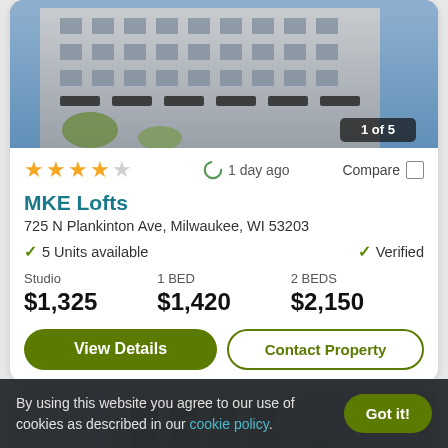[Figure (photo): Exterior photo of MKE Lofts building at 725 N Plankinton Ave Milwaukee, showing a multi-story urban building with dark awnings. Badge reads '1 of 5'.]
★★★★☆   1 day ago   Compare
MKE Lofts
725 N Plankinton Ave, Milwaukee, WI 53203
✓ 5 Units available   ✓ Verified
| Studio | 1 BED | 2 BEDS |
| --- | --- | --- |
| $1,325 | $1,420 | $2,150 |
View Details   Contact Property
[Figure (photo): Partial exterior photo of a second building listing, showing a brick building.]
By using this website you agree to our use of cookies as described in our cookie policy.